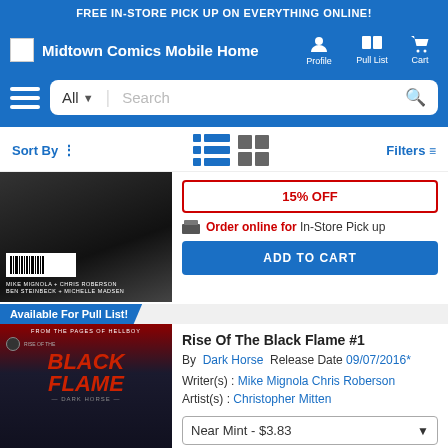FREE IN-STORE PICK UP ON EVERYTHING ONLINE!
[Figure (screenshot): Midtown Comics Mobile Home navigation bar with Profile, Pull List, Cart icons]
[Figure (screenshot): Search bar with All category dropdown and search input]
Sort By  Filters
[Figure (photo): Comic book cover (dark, partially visible) with barcode and creator credits including Mike Mignola, Chris Roberson, Ben Steinbeck, Michelle Madsen]
15% OFF
Order online for In-Store Pick up
ADD TO CART
Available For Pull List!
[Figure (photo): Rise Of The Black Flame #1 comic book cover - dark fantasy cover showing skull figure with red title text]
Rise Of The Black Flame #1
By Dark Horse Release Date 09/07/2016*
Writer(s) : Mike Mignola Chris Roberson Artist(s) : Christopher Mitten
Near Mint - $3.83